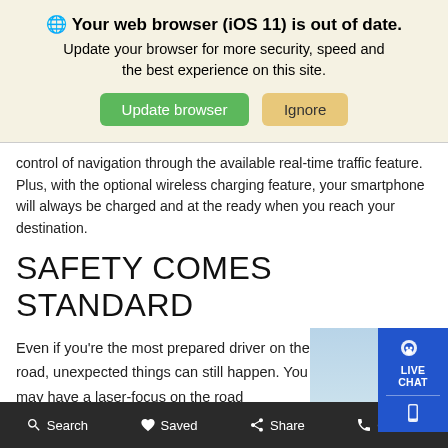🌐 Your web browser (iOS 11) is out of date. Update your browser for more security, speed and the best experience on this site. Update browser | Ignore
control of navigation through the available real-time traffic feature. Plus, with the optional wireless charging feature, your smartphone will always be charged and at the ready when you reach your destination.
SAFETY COMES STANDARD
Even if you're the most prepared driver on the road, unexpected things can still happen. You may have a laser-focus on the road
[Figure (photo): Red BMW sports car driving on a desert road at speed]
Search | Saved | Share | Contact